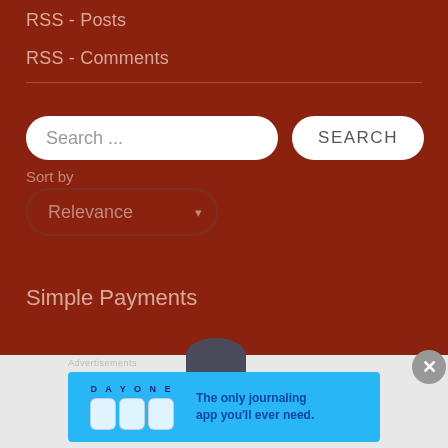RSS - Posts
RSS - Comments
Search ...
SEARCH
Sort by
Relevance
Simple Payments
Advertisements
[Figure (infographic): Day One journaling app advertisement: blue banner with icons and text 'The only journaling app you'll ever need.']